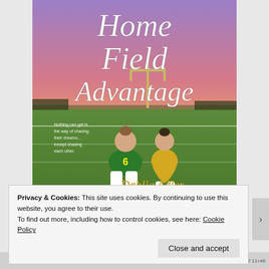[Figure (illustration): Book cover of 'Home Field Advantage' by Dahlia Adler. Features two girls sitting on a football field — one in a green football uniform with number 6, one in a yellow cheerleader outfit. Background shows a football goal post under a pink and purple sunset sky. Title text in white cursive at top. Author name in stylized script at bottom. Small tagline text on left side reads: 'Nothing can get in the way of chasing their dreams... except chasing each other.']
Privacy & Cookies: This site uses cookies. By continuing to use this website, you agree to their use.
To find out more, including how to control cookies, see here: Cookie Policy
Close and accept